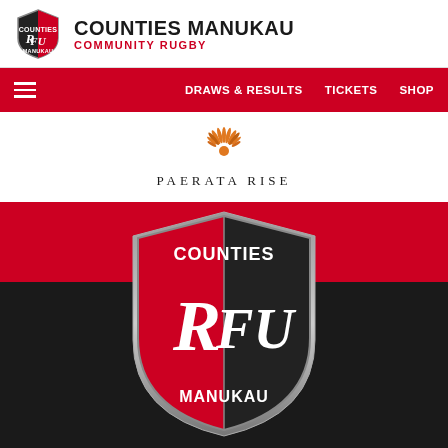COUNTIES MANUKAU COMMUNITY RUGBY
[Figure (logo): Counties Manukau Rugby Football Union shield logo in header]
DRAWS & RESULTS  TICKETS  SHOP
[Figure (logo): Paerata Rise sponsor logo - orange sunburst illustration with text PAERATA RISE]
[Figure (logo): Large Counties Manukau RFU shield logo - black and red with COUNTIES top, RFU letters in centre, MANUKAU bottom]
COUNTIES MANUKAU
RUGBY FOOTBALL UNION